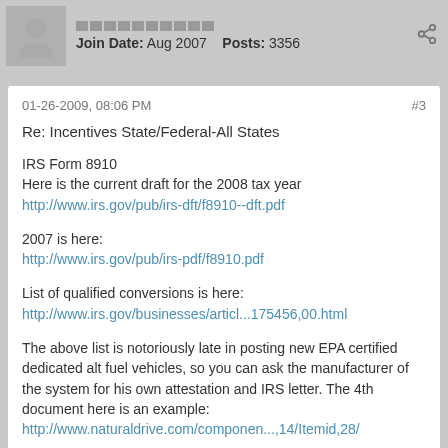Join Date: Aug 2007  Posts: 3356
01-26-2009, 08:06 PM
#3
Re: Incentives State/Federal-All States
IRS Form 8910
Here is the current draft for the 2008 tax year
http://www.irs.gov/pub/irs-dft/f8910--dft.pdf

2007 is here:
http://www.irs.gov/pub/irs-pdf/f8910.pdf

List of qualified conversions is here:
http://www.irs.gov/businesses/articl...175456,00.html

The above list is notoriously late in posting new EPA certified dedicated alt fuel vehicles, so you can ask the manufacturer of the system for his own attestation and IRS letter. The 4th document here is an example:
http://www.naturaldrive.com/componen...,14/Itemid,28/
Go CNG
Member